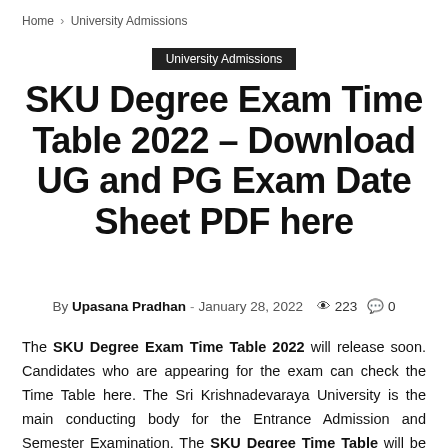Home › University Admissions
University Admissions
SKU Degree Exam Time Table 2022 – Download UG and PG Exam Date Sheet PDF here
By Upasana Pradhan - January 28, 2022  223  0
The SKU Degree Exam Time Table 2022 will release soon. Candidates who are appearing for the exam can check the Time Table here. The Sri Krishnadevaraya University is the main conducting body for the Entrance Admission and Semester Examination. The SKU Degree Time Table will be available online on its official website in PDF Format. So, in this article, we have provided complete details about the exam schedule of SK University. Therefore, go through the article carefully. The